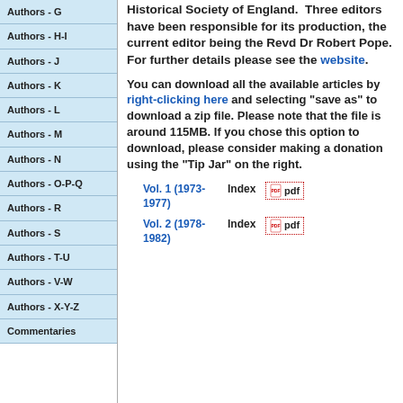Authors - G
Authors - H-I
Authors - J
Authors - K
Authors - L
Authors - M
Authors - N
Authors - O-P-Q
Authors - R
Authors - S
Authors - T-U
Authors - V-W
Authors - X-Y-Z
Commentaries
Historical Society of England.  Three editors have been responsible for its production, the current editor being the Revd Dr Robert Pope. For further details please see the website.
You can download all the available articles by right-clicking here and selecting "save as" to download a zip file. Please note that the file is around 115MB. If you chose this option to download, please consider making a donation using the "Tip Jar" on the right.
Vol. 1 (1973-1977)   Index   pdf
Vol. 2 (1978-1982)   Index   pdf